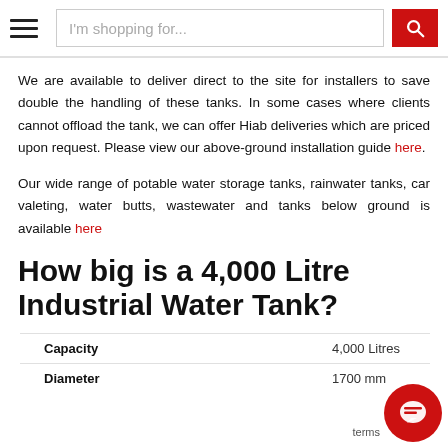I'm shopping for...
We are available to deliver direct to the site for installers to save double the handling of these tanks. In some cases where clients cannot offload the tank, we can offer Hiab deliveries which are priced upon request. Please view our above-ground installation guide here.
Our wide range of potable water storage tanks, rainwater tanks, car valeting, water butts, wastewater and tanks below ground is available here
How big is a 4,000 Litre Industrial Water Tank?
| Capacity | 4,000 Litres |
| Diameter | 1700 mm |